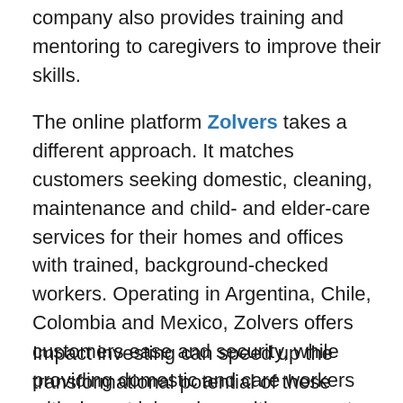company also provides training and mentoring to caregivers to improve their skills.
The online platform Zolvers takes a different approach. It matches customers seeking domestic, cleaning, maintenance and child- and elder-care services for their homes and offices with trained, background-checked workers. Operating in Argentina, Chile, Colombia and Mexico, Zolvers offers customers ease and security, while providing domestic and care workers with decent jobs, along with access to training programs, financial inclusion and government social security programs.
Impact investing can speed up the transformational potential of these types of businesses by providing them with necessary capital — but funding isn't the only type of support they need. The following steps can guide the public, non-profit and business sectors in